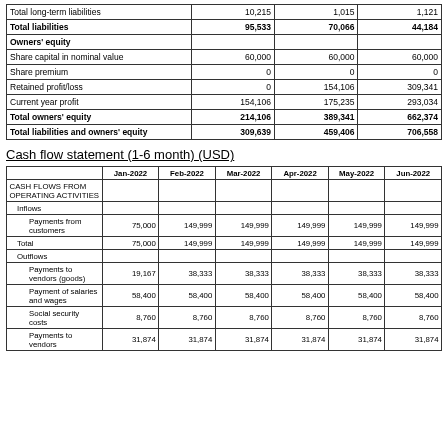|  | Col1 | Col2 | Col3 |
| --- | --- | --- | --- |
| Total long-term liabilities | 10,215 | 1,015 | 1,121 |
| Total liabilities | 95,533 | 70,066 | 44,184 |
| Owners' equity |  |  |  |
| Share capital in nominal value | 60,000 | 60,000 | 60,000 |
| Share premium | 0 | 0 | 0 |
| Retained profit/loss | 0 | 154,106 | 309,341 |
| Current year profit | 154,106 | 175,235 | 293,034 |
| Total owners' equity | 214,106 | 389,341 | 662,374 |
| Total liabilities and owners' equity | 309,639 | 459,406 | 706,558 |
Cash flow statement (1-6 month) (USD)
|  | Jan-2022 | Feb-2022 | Mar-2022 | Apr-2022 | May-2022 | Jun-2022 |
| --- | --- | --- | --- | --- | --- | --- |
| CASH FLOWS FROM OPERATING ACTIVITIES |  |  |  |  |  |  |
| Inflows |  |  |  |  |  |  |
| Payments from customers | 75,000 | 149,999 | 149,999 | 149,999 | 149,999 | 149,999 |
| Total | 75,000 | 149,999 | 149,999 | 149,999 | 149,999 | 149,999 |
| Outflows |  |  |  |  |  |  |
| Payments to vendors (goods) | 19,167 | 38,333 | 38,333 | 38,333 | 38,333 | 38,333 |
| Payment of salaries and wages | 58,400 | 58,400 | 58,400 | 58,400 | 58,400 | 58,400 |
| Social security costs | 8,760 | 8,760 | 8,760 | 8,760 | 8,760 | 8,760 |
| Payments to vendors | 31,874 | 31,874 | 31,874 | 31,874 | 31,874 | 31,874 |